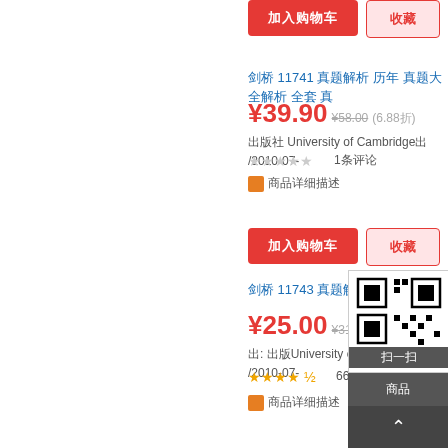加入购物车 / 收藏 buttons (top)
剑桥 11741 真题解析 历年 真题大全解析 全套 真
¥39.90  原价¥58.00 (6.88折)
出版社 University of Cambridge出 /2010-07-
1条评论
商品详细描述
加入购物车 / 收藏 buttons (second)
剑桥 11743 真题解析大全解析
¥25.00  原价¥31.00 (8.0折)
出: 出版University of Cambridge /2010-07-
66条评论
商品详细描述
[Figure (other): QR code with 扫一扫 label, dark overlay buttons for 商品, up arrow, and 收藏]